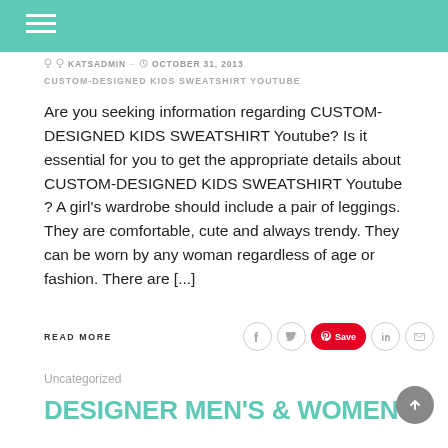KATSADMIN — OCTOBER 31, 2013
CUSTOM-DESIGNED KIDS SWEATSHIRT YOUTUBE
Are you seeking information regarding CUSTOM-DESIGNED KIDS SWEATSHIRT Youtube? Is it essential for you to get the appropriate details about CUSTOM-DESIGNED KIDS SWEATSHIRT Youtube ? A girl's wardrobe should include a pair of leggings. They are comfortable, cute and always trendy. They can be worn by any woman regardless of age or fashion. There are [...]
READ MORE
Uncategorized
DESIGNER MEN'S & WOMEN'S